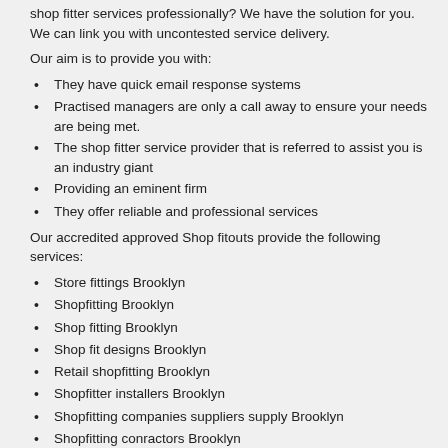shop fitter services professionally? We have the solution for you. We can link you with uncontested service delivery.
Our aim is to provide you with:
They have quick email response systems
Practised managers are only a call away to ensure your needs are being met.
The shop fitter service provider that is referred to assist you is an industry giant
Providing an eminent firm
They offer reliable and professional services
Our accredited approved Shop fitouts provide the following services:
Store fittings Brooklyn
Shopfitting Brooklyn
Shop fitting Brooklyn
Shop fit designs Brooklyn
Retail shopfitting Brooklyn
Shopfitter installers Brooklyn
Shopfitting companies suppliers supply Brooklyn
Shopfitting conractors Brooklyn
Shop fitter Brooklyn
Shop fitouts Brooklyn
Shop fitouts Brooklyn
Shopfitter repairs Brooklyn
Shopfitter installations Brooklyn